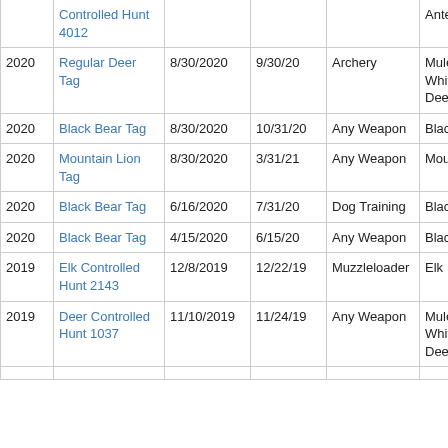| Year | Tag/Hunt | Start Date | End Date | Weapon | Species |
| --- | --- | --- | --- | --- | --- |
|  | Controlled Hunt 4012 |  |  |  | Antelope |
| 2020 | Regular Deer Tag | 8/30/2020 | 9/30/20 | Archery | Mule and White-tailed Deer |
| 2020 | Black Bear Tag | 8/30/2020 | 10/31/20 | Any Weapon | Black Bear |
| 2020 | Mountain Lion Tag | 8/30/2020 | 3/31/21 | Any Weapon | Mountain Lion |
| 2020 | Black Bear Tag | 6/16/2020 | 7/31/20 | Dog Training | Black Bear |
| 2020 | Black Bear Tag | 4/15/2020 | 6/15/20 | Any Weapon | Black Bear |
| 2019 | Elk Controlled Hunt 2143 | 12/8/2019 | 12/22/19 | Muzzleloader | Elk |
| 2019 | Deer Controlled Hunt 1037 | 11/10/2019 | 11/24/19 | Any Weapon | Mule and White-tailed Deer |